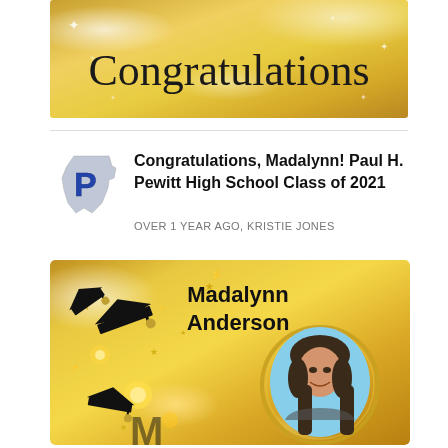[Figure (illustration): Gold glittery banner with cursive text reading 'Congratulations' with sparkle effects]
[Figure (logo): Paul H. Pewitt High School logo - blue letter P on Texas state silhouette]
Congratulations, Madalynn! Paul H. Pewitt High School Class of 2021
OVER 1 YEAR AGO, KRISTIE JONES
[Figure (illustration): Gold graduation announcement card for Madalynn Anderson featuring graduation caps, sparkles, gold stars, and a circular photo of a smiling young woman with brown hair on a blue background]